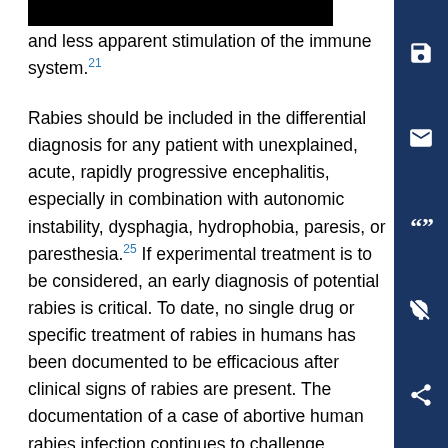have res[REDACTED] and less apparent stimulation of the immune system.21
Rabies should be included in the differential diagnosis for any patient with unexplained, acute, rapidly progressive encephalitis, especially in combination with autonomic instability, dysphagia, hydrophobia, paresis, or paresthesia.25 If experimental treatment is to be considered, an early diagnosis of potential rabies is critical. To date, no single drug or specific treatment of rabies in humans has been documented to be efficacious after clinical signs of rabies are present. The documentation of a case of abortive human rabies infection continues to challenge preconceived notions of rabies as an invariably fatal disease as well as traditional